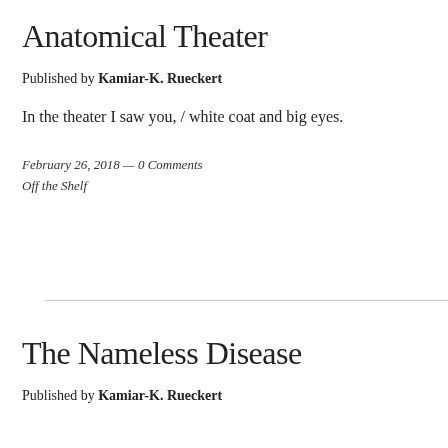Anatomical Theater
Published by Kamiar-K. Rueckert
In the theater I saw you, / white coat and big eyes.
February 26, 2018 — 0 Comments
Off the Shelf
The Nameless Disease
Published by Kamiar-K. Rueckert